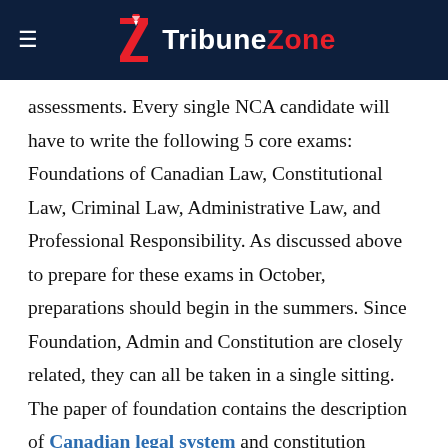TribuneZone
assessments. Every single NCA candidate will have to write the following 5 core exams: Foundations of Canadian Law, Constitutional Law, Criminal Law, Administrative Law, and Professional Responsibility. As discussed above to prepare for these exams in October, preparations should begin in the summers. Since Foundation, Admin and Constitution are closely related, they can all be taken in a single sitting. The paper of foundation contains the description of Canadian legal system and constitution entirely and is extremely beneficial for any student that has not studied law in a Canadian Law School.
If electives are assigned to any student, selection of the